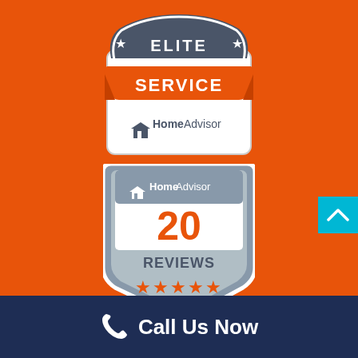[Figure (logo): HomeAdvisor Elite Service badge - shield shape with dark gray top section showing star ELITE star text, orange ribbon banner with SERVICE text, white bottom section with HomeAdvisor logo]
[Figure (logo): HomeAdvisor 20 Reviews badge - shield/pentagon shape in gray with HomeAdvisor logo at top, large orange 20 number, REVIEWS text in dark gray, and 5 orange stars at bottom]
[Figure (other): Cyan/turquoise square button with white upward chevron arrow in bottom right corner]
Call Us Now